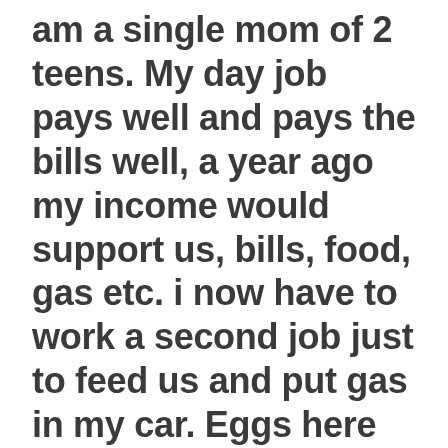am a single mom of 2 teens. My day job pays well and pays the bills well, a year ago my income would support us, bills, food, gas etc. i now have to work a second job just to feed us and put gas in my car. Eggs here went from .99 a carton to 1.99, ground beef went from 2.89 a pound to 4.99, and it goes on and